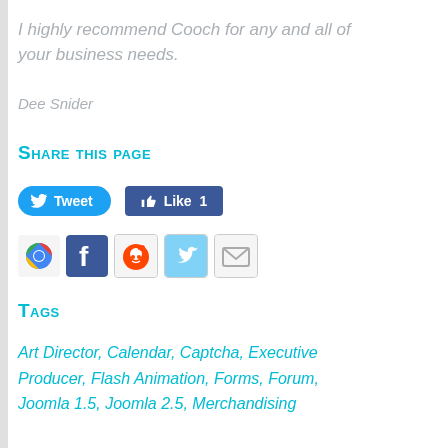I highly recommend Cooch for any and all of your business needs.
Dee Snider
Share this page
[Figure (other): Tweet button and Facebook Like button with count 1]
[Figure (other): Social sharing icons: Google, Facebook, Reddit, Twitter, Email]
Tags
Art Director, Calendar, Captcha, Executive Producer, Flash Animation, Forms, Forum, Joomla 1.5, Joomla 2.5, Merchandising